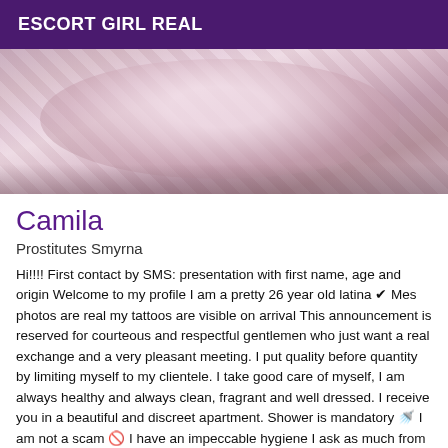ESCORT GIRL REAL
[Figure (photo): A woman lying on a bed with patterned bedding, wearing fishnet stockings and a short skirt, viewed from behind/side angle.]
Camila
Prostitutes Smyrna
Hi!!!! First contact by SMS: presentation with first name, age and origin Welcome to my profile I am a pretty 26 year old latina ✔ Mes photos are real my tattoos are visible on arrival This announcement is reserved for courteous and respectful gentlemen who just want a real exchange and a very pleasant meeting. I put quality before quantity by limiting myself to my clientele. I take good care of myself, I am always healthy and always clean, fragrant and well dressed. I receive you in a beautiful and discreet apartment. Shower is mandatory 🚿 I am not a scam 🚫 I have an impeccable hygiene I ask as much from you, do not try to avoid it, know that At last